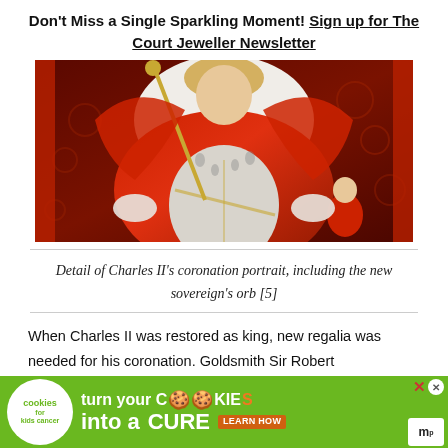Don't Miss a Single Sparkling Moment! Sign up for The Court Jeweller Newsletter
[Figure (photo): Detail of Charles II's coronation portrait painting, showing the monarch in red ermine-trimmed coronation robes holding a sceptre, with decorative background]
Detail of Charles II's coronation portrait, including the new sovereign's orb [5]
When Charles II was restored as king, new regalia was needed for his coronation. Goldsmith Sir Robert
[Figure (infographic): Advertisement banner: 'turn your COOKIES into a CURE LEARN HOW' for cookies for kids cancer charity]